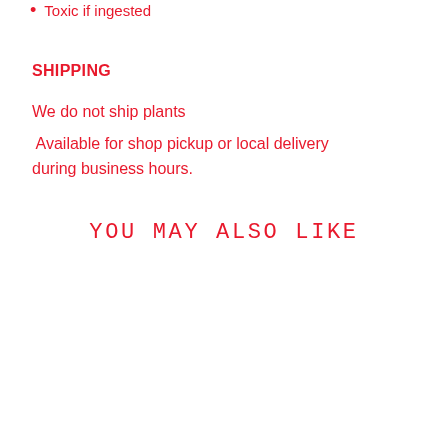Toxic if ingested
SHIPPING
We do not ship plants
Available for shop pickup or local delivery during business hours.
YOU MAY ALSO LIKE